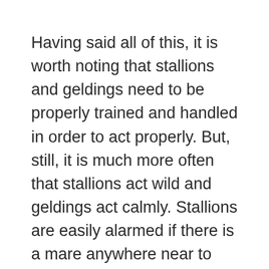Having said all of this, it is worth noting that stallions and geldings need to be properly trained and handled in order to act properly. But, still, it is much more often that stallions act wild and geldings act calmly. Stallions are easily alarmed if there is a mare anywhere near to them, which is also caused by hormones.
Given that stallions are most often kept as such for breeding, the